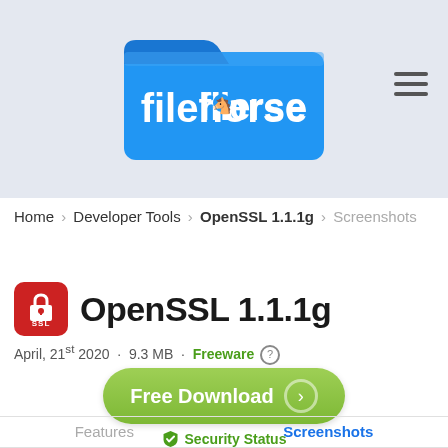[Figure (logo): Filehorse logo — blue folder icon with 'filehorse' text in white, on a light gray-blue header background]
Home > Developer Tools > OpenSSL 1.1.1g > Screenshots
OpenSSL 1.1.1g
April, 21st 2020  ·  9.3 MB  ·  Freeware ℹ
[Figure (other): Green Free Download button with circular arrow icon]
✔ Security Status
Features   Screenshots